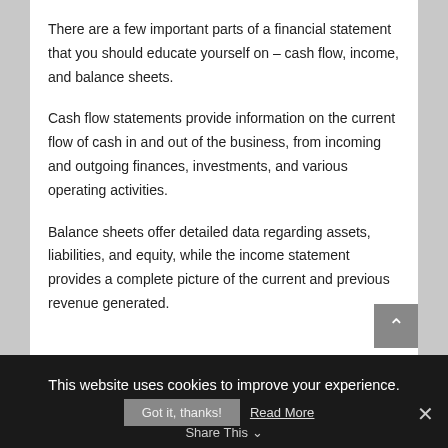There are a few important parts of a financial statement that you should educate yourself on – cash flow, income, and balance sheets.
Cash flow statements provide information on the current flow of cash in and out of the business, from incoming and outgoing finances, investments, and various operating activities.
Balance sheets offer detailed data regarding assets, liabilities, and equity, while the income statement provides a complete picture of the current and previous revenue generated.
This website uses cookies to improve your experience.
Got it, thanks!   Read More
Share This